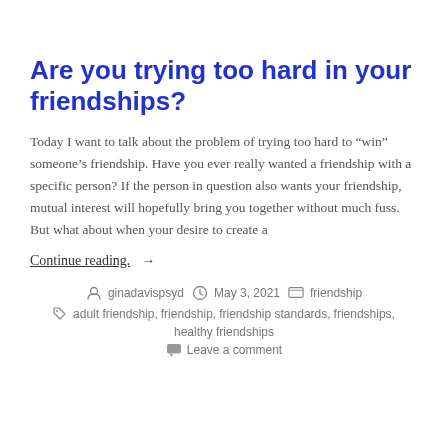Are you trying too hard in your friendships?
Today I want to talk about the problem of trying too hard to “win” someone’s friendship. Have you ever really wanted a friendship with a specific person? If the person in question also wants your friendship, mutual interest will hopefully bring you together without much fuss. But what about when your desire to create a
Continue reading. →
ginadavispsyd   May 3, 2021   friendship
adult friendship, friendship, friendship standards, friendships, healthy friendships
Leave a comment